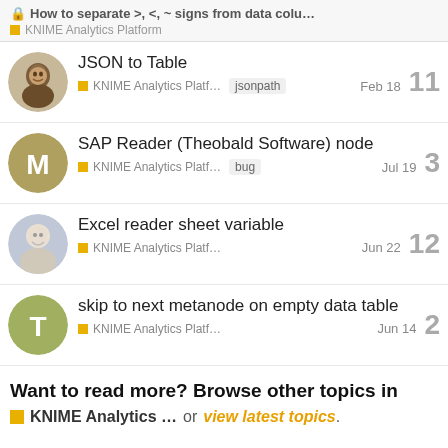🔒 How to separate >, <, ~ signs from data colu… | KNIME Analytics Platform
JSON to Table | KNIME Analytics Platf… | jsonpath | Feb 18 | 11
SAP Reader (Theobald Software) node | KNIME Analytics Platf… | bug | Jul 19 | 3
Excel reader sheet variable | KNIME Analytics Platf… | Jun 22 | 12
skip to next metanode on empty data table | KNIME Analytics Platf… | Jun 14 | 2
Want to read more? Browse other topics in KNIME Analytics … or view latest topics.